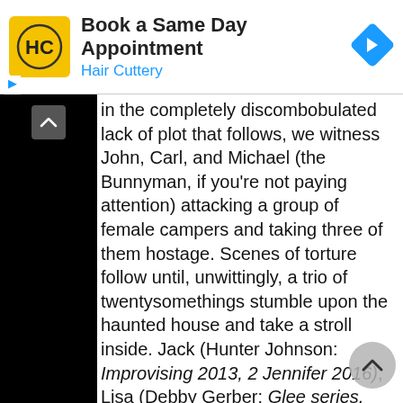[Figure (screenshot): Hair Cuttery advertisement banner: yellow logo with HC letters, title 'Book a Same Day Appointment', subtitle 'Hair Cuttery' in blue, blue diamond navigation arrow icon on right]
In the completely discombobulated lack of plot that follows, we witness John, Carl, and Michael (the Bunnyman, if you're not paying attention) attacking a group of female campers and taking three of them hostage. Scenes of torture follow until, unwittingly, a trio of twentysomethings stumble upon the haunted house and take a stroll inside. Jack (Hunter Johnson: Improvising 2013, 2 Jennifer 2016), Lisa (Debby Gerber: Glee series, Murder Among Friends series), and Rachel (Toby Marks: Follow Me, Suck It Up 2017) quickly realize that this is going to be their final rest stop. Before she bites it, however, Lisa outwits the Bunnyman and when he passes out, there is a black n' white acid trip of Sci-Fi pornography that occurs complete with fetish bunny masks, Industrial music (thanks to Die Krupps), and a teddy bear slaughter.